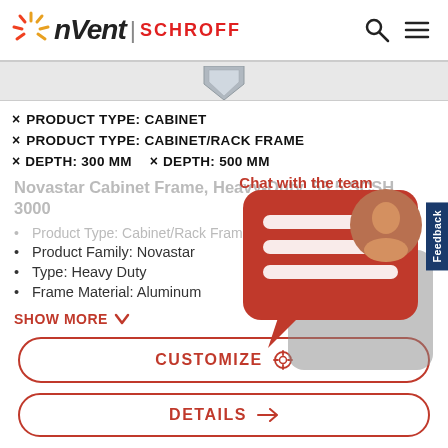nVent | SCHROFF
× PRODUCT TYPE: CABINET
× PRODUCT TYPE: CABINET/RACK FRAME
× DEPTH: 300 MM   × DEPTH: 500 MM
Novastar Cabinet Frame, Heavy-Duty, 55.5 SCSH 3000
Product Type: Cabinet/Rack Frame
Product Family: Novastar
Type: Heavy Duty
Frame Material: Aluminum
SHOW MORE
CUSTOMIZE
DETAILS
[Figure (illustration): Red chat bubble widget with lines and a person avatar, overlaid on the right side of the page. Text 'Chat with the team' in red.]
Feedback